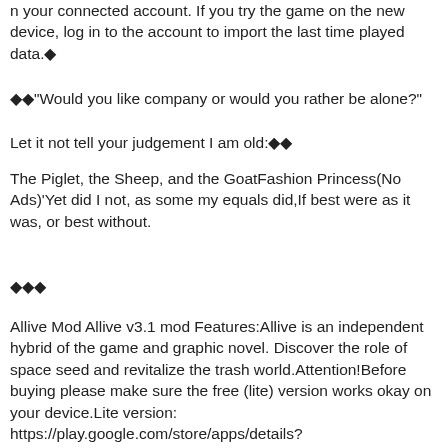n your connected account. If you try the game on the new device, log in to the account to import the last time played data.◆
◆◆"Would you like company or would you rather be alone?"
Let it not tell your judgement I am old:◆◆
The Piglet, the Sheep, and the GoatFashion Princess(No Ads)'Yet did I not, as some my equals did,If best were as it was, or best without.
◆◆◆
Allive Mod Allive v3.1 mod Features:Allive is an independent hybrid of the game and graphic novel. Discover the role of space seed and revitalize the trash world.Attention!Before buying please make sure the free (lite) version works okay on your device.Lite version: https://play.google.com/store/apps/details?id=com.Boxfreestudio.AllivedemoBike Taxi Simulator: Passenger Transport Game Mod Bike Taxi Simulator: Passenger Transport Game v 1.2.2 Mod Features:Enter the game to give a lot of moneyAn adventurous bike taxi and cab game has arrived as bike taxi simulator: passenger transport gam